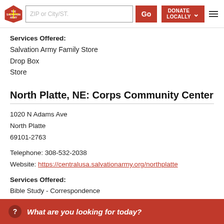Salvation Army website header with logo, ZIP or City/ST. search, Go button, DONATE LOCALLY button, and hamburger menu
Services Offered:
Salvation Army Family Store
Drop Box
Store
North Platte, NE: Corps Community Center
1020 N Adams Ave
North Platte
69101-2763
Telephone: 308-532-2038
Website: https://centralusa.salvationarmy.org/northplatte
Services Offered:
Bible Study - Correspondence
Disaster Services
Emergency Financial As...
Food & Nutrition Progra...
Seasonal Services
What are you looking for today?